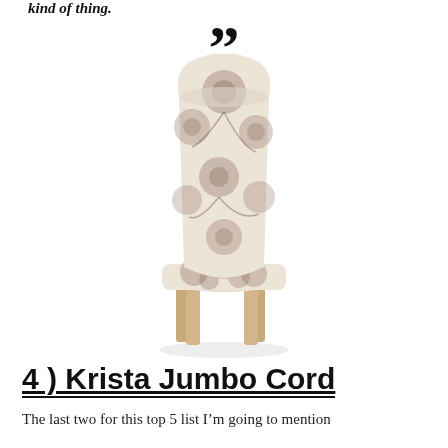kind of thing.
””
[Figure (photo): A high-back dining chair upholstered in cream fabric with brown floral pattern, with natural wooden legs.]
4 ) Krista Jumbo Cord
The last two for this top 5 list I’m going to mention